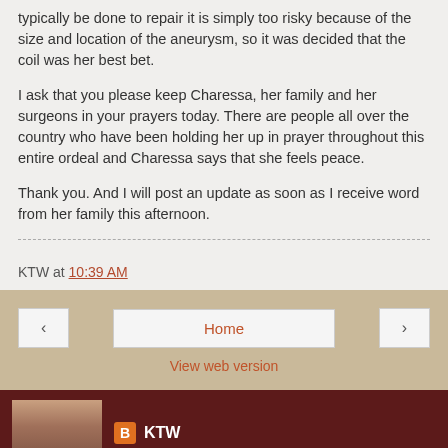typically be done to repair it is simply too risky because of the size and location of the aneurysm, so it was decided that the coil was her best bet.
I ask that you please keep Charessa, her family and her surgeons in your prayers today. There are people all over the country who have been holding her up in prayer throughout this entire ordeal and Charessa says that she feels peace.
Thank you. And I will post an update as soon as I receive word from her family this afternoon.
KTW at 10:39 AM
Home
View web version
KTW